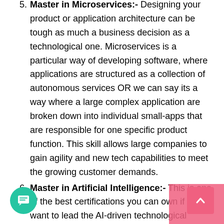Master in Microservices:- Designing your product or application architecture can be tough as much a business decision as a technological one. Microservices is a particular way of developing software, where applications are structured as a collection of autonomous services OR we can say its a way where a large complex application are broken down into individual small-apps that are responsible for one specific product function. This skill allows large companies to gain agility and new tech capabilities to meet the growing customer demands.
Master in Artificial Intelligence:- This is one of the best certifications you can own if you want to lead the AI-driven technological revolution. It is not just about replacing the human component of the industry. It's also about making it easier to make decisions based on observable patterns, use logic and reasoning to form conclusions, and